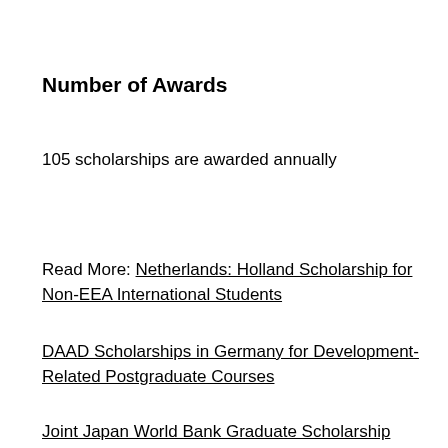Number of Awards
105 scholarships are awarded annually
Read More: Netherlands: Holland Scholarship for Non-EEA International Students
DAAD Scholarships in Germany for Development-Related Postgraduate Courses
Joint Japan World Bank Graduate Scholarship